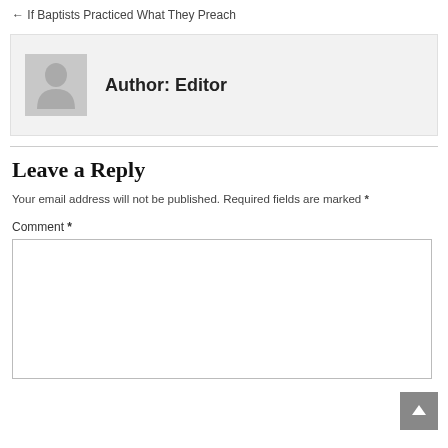← If Baptists Practiced What They Preach
[Figure (illustration): Author avatar box with gray background showing a generic person silhouette icon, next to bold text 'Author: Editor']
Leave a Reply
Your email address will not be published. Required fields are marked *
Comment *
[Figure (screenshot): Empty comment text area input box with border]